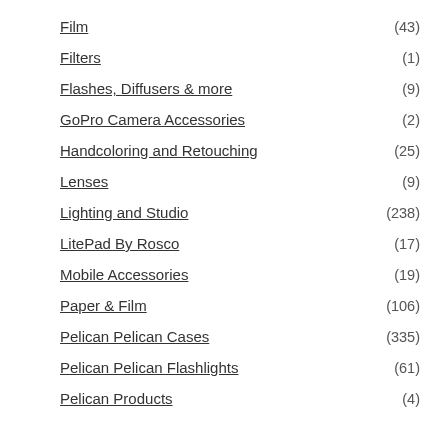Film (43)
Filters (1)
Flashes, Diffusers & more (9)
GoPro Camera Accessories (2)
Handcoloring and Retouching (25)
Lenses (9)
Lighting and Studio (238)
LitePad By Rosco (17)
Mobile Accessories (19)
Paper & Film (106)
Pelican Pelican Cases (335)
Pelican Pelican Flashlights (61)
Pelican Products (4)